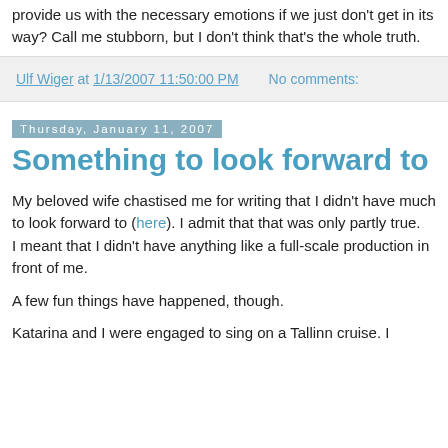provide us with the necessary emotions if we just don't get in its way? Call me stubborn, but I don't think that's the whole truth.
Ulf Wiger at 1/13/2007 11:50:00 PM   No comments:
Thursday, January 11, 2007
Something to look forward to
My beloved wife chastised me for writing that I didn't have much to look forward to (here). I admit that that was only partly true.
I meant that I didn't have anything like a full-scale production in
front of me.
A few fun things have happened, though.
Katarina and I were engaged to sing on a Tallinn cruise. I